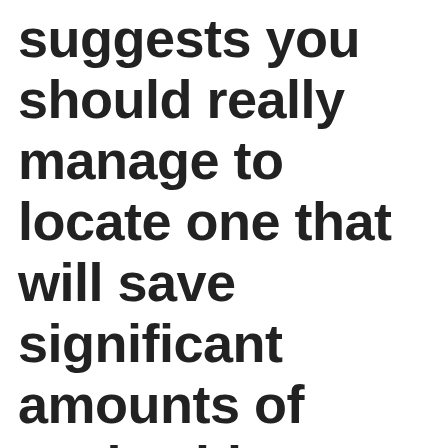suggests you should really manage to locate one that will save significant amounts of cash with your wedding party. You should try to get a are living star of the